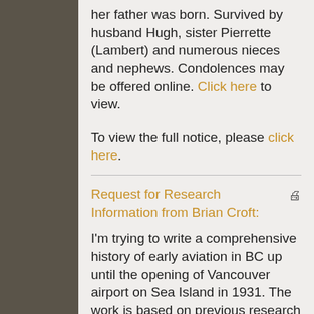her father was born. Survived by husband Hugh, sister Pierrette (Lambert) and numerous nieces and nephews. Condolences may be offered online. Click here to view.
To view the full notice, please click here.
Request for Research Information from Brian Croft:
I'm trying to write a comprehensive history of early aviation in BC up until the opening of Vancouver airport on Sea Island in 1931. The work is based on previous research and a great deal of new research in archives